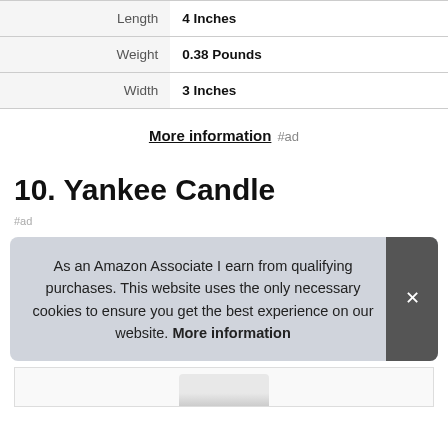| Attribute | Value |
| --- | --- |
| Length | 4 Inches |
| Weight | 0.38 Pounds |
| Width | 3 Inches |
More information #ad
10. Yankee Candle
#ad
As an Amazon Associate I earn from qualifying purchases. This website uses the only necessary cookies to ensure you get the best experience on our website. More information
[Figure (photo): Partially visible product image at the bottom of the page]